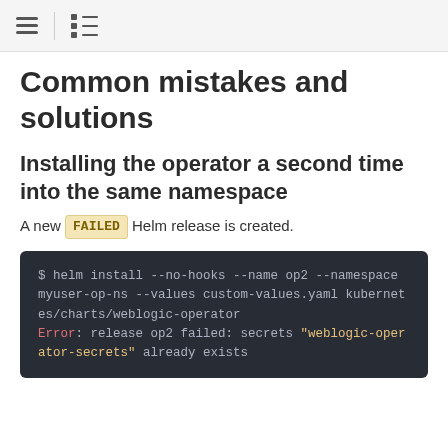≡  ☰
Common mistakes and solutions
Installing the operator a second time into the same namespace
A new FAILED Helm release is created.
$ helm install --no-hooks --name op2 --namespace myuser-op-ns --values custom-values.yaml kubernetes/charts/weblogic-operator
Error: release op2 failed: secrets "weblogic-operator-secrets" already exists